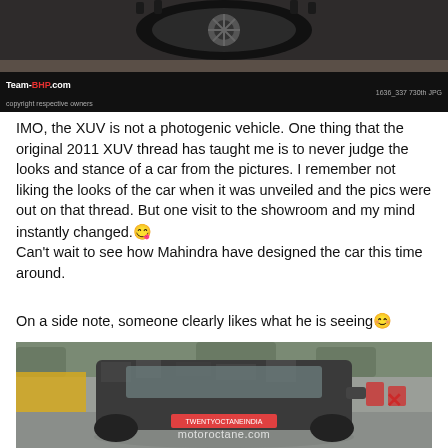[Figure (photo): Top portion of a car wheel/tire visible, dark background, Team-BHP.com watermark bar at bottom with copyright text and image number]
IMO, the XUV is not a photogenic vehicle. One thing that the original 2011 XUV thread has taught me is to never judge the looks and stance of a car from the pictures. I remember not liking the looks of the car when it was unveiled and the pics were out on that thread. But one visit to the showroom and my mind instantly changed.😋 Can't wait to see how Mahindra have designed the car this time around.
On a side note, someone clearly likes what he is seeing😊
[Figure (photo): Spy shot of a camouflaged Mahindra XUV (rear view) parked on a wet surface with motoroctane.com watermark, surrounded by trees and red chairs in background]